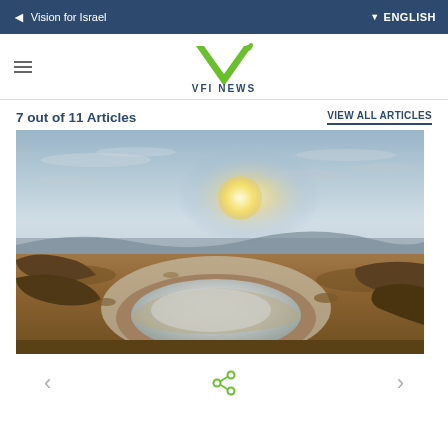Vision for Israel   ENGLISH
VFI NEWS
7 out of 11 Articles
VIEW ALL ARTICLES
[Figure (photo): Landscape photograph of the Dead Sea shoreline at sunset, showing a large sinkhole in the foreground filled with white/grey water or salt, with the sun low on the horizon and a hazy sky with scattered clouds.]
< share >